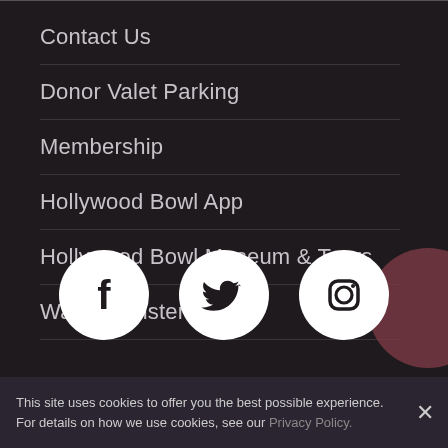Contact Us
Donor Valet Parking
Membership
Hollywood Bowl App
Hollywood Bowl Museum & Tours
Watch & Listen
[Figure (illustration): Three social media icons (Facebook, Twitter, Instagram) as white circles with dark logos on a dark background]
This site uses cookies to offer you the best possible experience. For details on how we use cookies, see our Privacy Policy.